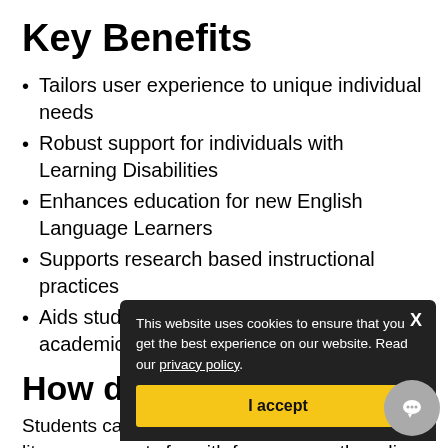Key Benefits
Tailors user experience to unique individual needs
Robust support for individuals with Learning Disabilities
Enhances education for new English Language Learners
Supports research based instructional practices
Aids students to meet the rigour of high academic standards.
How does it work?
Students can access content and common literacy supports fro[m ... ] with [f]ree access, then dive deeper with comprehensive literacy support installed directly to Mac and
This website uses cookies to ensure that you get the best experience on our website. Read our privacy policy.
I accept